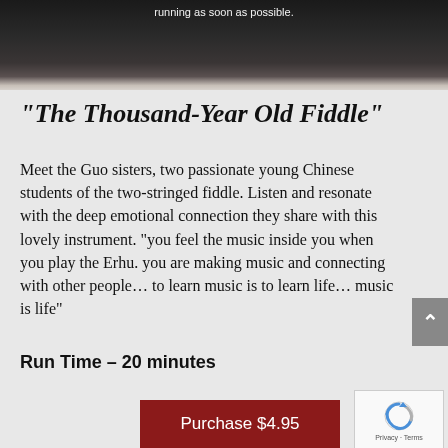[Figure (photo): Dark banner photo of musicians/instrument players, partially visible at the top of the page with text 'running as soon as possible.' visible at top]
“The Thousand-Year Old Fiddle”
Meet the Guo sisters, two passionate young Chinese students of the two-stringed fiddle. Listen and resonate with the deep emotional connection they share with this lovely instrument. “you feel the music inside you when you play the Erhu. you are making music and connecting with other people… to learn music is to learn life… music is life”
Run Time – 20 minutes
Purchase $4.95